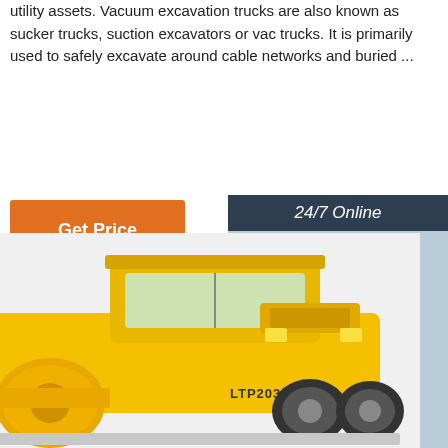utility assets. Vacuum excavation trucks are also known as sucker trucks, suction excavators or vac trucks. It is primarily used to safely excavate around cable networks and buried ...
[Figure (other): Orange 'Get Price' button]
[Figure (other): Sidebar with '24/7 Online' header, customer service woman with headset photo, 'Click here for free chat!' text, and orange 'QUOTATION' button on dark navy background]
[Figure (photo): Yellow LTP2030 road roller / compactor construction vehicle photographed from the side, partially cropped at bottom of page]